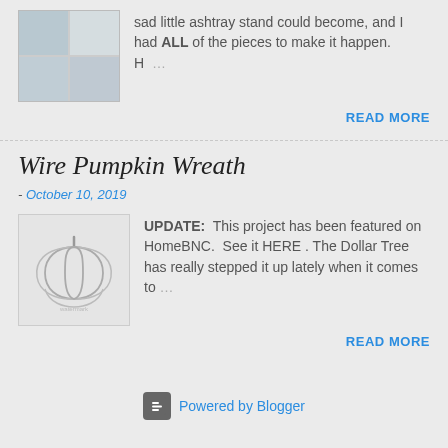sad little ashtray stand could become, and I had ALL of the pieces to make it happen. H…
READ MORE
Wire Pumpkin Wreath
- October 10, 2019
[Figure (photo): Wire pumpkin wreath thumbnail image on gray background]
UPDATE:  This project has been featured on HomeBNC.  See it HERE . The Dollar Tree has really stepped it up lately when it comes to…
READ MORE
Powered by Blogger